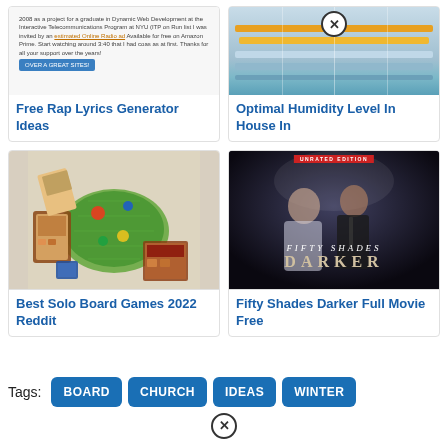[Figure (screenshot): Top-left card showing a blog post screenshot with small text and an orange link, plus a blue button]
Free Rap Lyrics Generator Ideas
[Figure (infographic): Top-right card showing an infographic about optimal humidity levels with colored bars and a close/x badge]
Optimal Humidity Level In House In
[Figure (photo): Bottom-left card showing board game pieces and boards laid out]
Best Solo Board Games 2022 Reddit
[Figure (photo): Bottom-right card showing movie poster for Fifty Shades Darker Unrated Edition]
Fifty Shades Darker Full Movie Free
Tags:
BOARD
CHURCH
IDEAS
WINTER